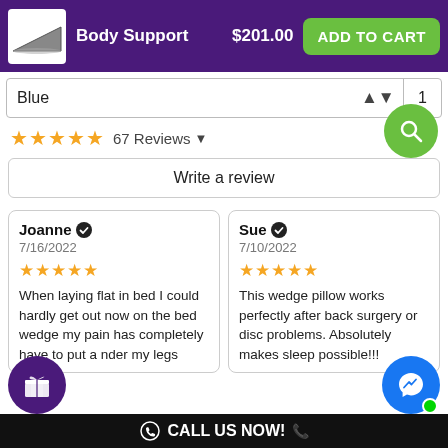Body Support $201.00 ADD TO CART
Blue | 1
★★★★★ 67 Reviews
Write a review
Joanne ✔ 7/16/2022 ★★★★★ When laying flat in bed I could hardly get out now on the bed wedge my pain has completely have to put a nder my legs
Sue ✔ 7/10/2022 ★★★★★ This wedge pillow works perfectly after back surgery or disc problems. Absolutely makes sleep possible!!!
CALL US NOW!